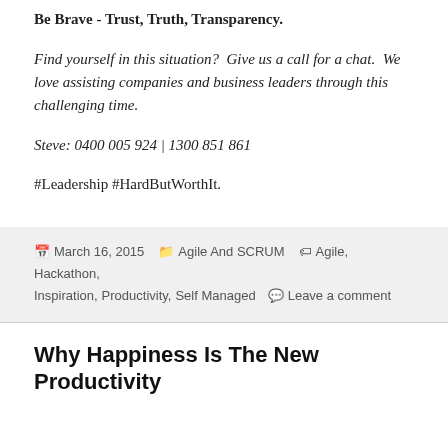Be Brave - Trust, Truth, Transparency.
Find yourself in this situation?  Give us a call for a chat.  We love assisting companies and business leaders through this challenging time.
Steve: 0400 005 924 | 1300 851 861
#Leadership #HardButWorthIt.
March 16, 2015   Agile And SCRUM   Agile, Hackathon, Inspiration, Productivity, Self Managed   Leave a comment
Why Happiness Is The New Productivity